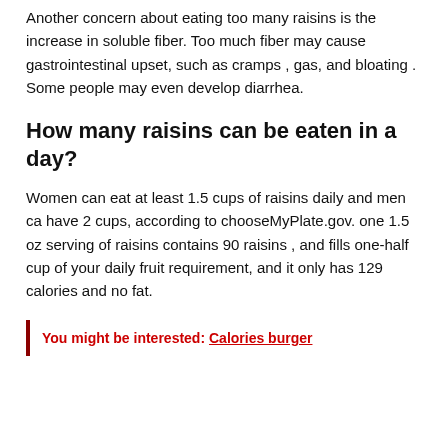Another concern about eating too many raisins is the increase in soluble fiber. Too much fiber may cause gastrointestinal upset, such as cramps , gas, and bloating . Some people may even develop diarrhea.
How many raisins can be eaten in a day?
Women can eat at least 1.5 cups of raisins daily and men ca have 2 cups, according to chooseMyPlate.gov. one 1.5 oz serving of raisins contains 90 raisins , and fills one-half cup of your daily fruit requirement, and it only has 129 calories and no fat.
You might be interested: Calories burger